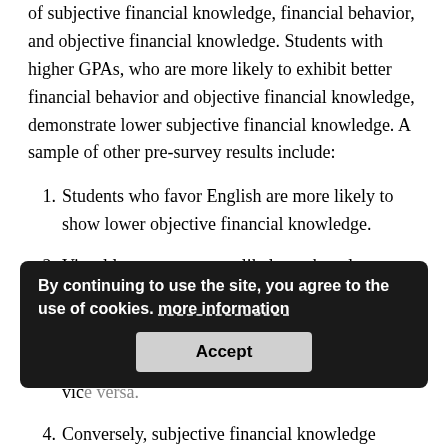of subjective financial knowledge, financial behavior, and objective financial knowledge. Students with higher GPAs, who are more likely to exhibit better financial behavior and objective financial knowledge, demonstrate lower subjective financial knowledge. A sample of other pre-survey results include:
Students who favor English are more likely to show lower objective financial knowledge.
Visual learners are more likely to show lower subjective financial knowledge.
Overall, good financial behavior implies better [partially obscured] and vice [partially obscured]
Conversely, subjective financial knowledge exhibits no statistically significant effect on objective